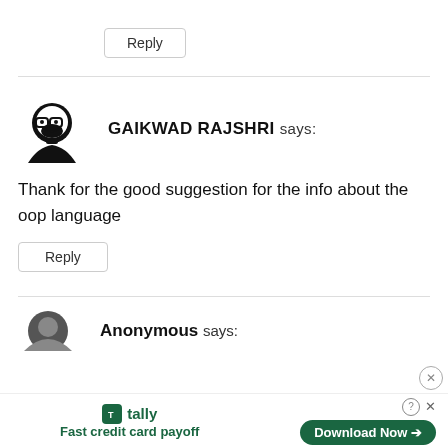Reply
GAIKWAD RAJSHRI says:
Thank for the good suggestion for the info about the oop language
Reply
Anonymous says:
[Figure (other): Tally advertisement banner: Fast credit card payoff, Download Now button]